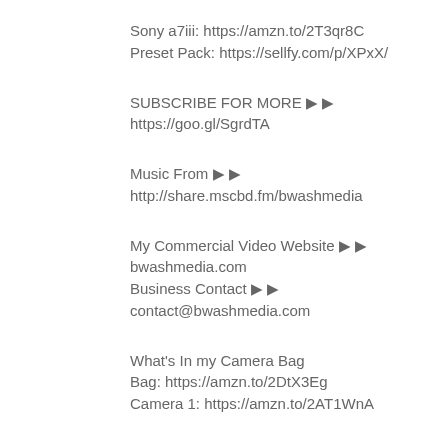Sony a7iii: https://amzn.to/2T3qr8C
Preset Pack: https://sellfy.com/p/XPxX/
SUBSCRIBE FOR MORE ▶ ▶
https://goo.gl/SgrdTA
Music From ▶ ▶
http://share.mscbd.fm/bwashmedia
My Commercial Video Website ▶ ▶
bwashmedia.com
Business Contact ▶ ▶
contact@bwashmedia.com
What's In my Camera Bag
Bag: https://amzn.to/2DtX3Eg
Camera 1: https://amzn.to/2AT1WnA